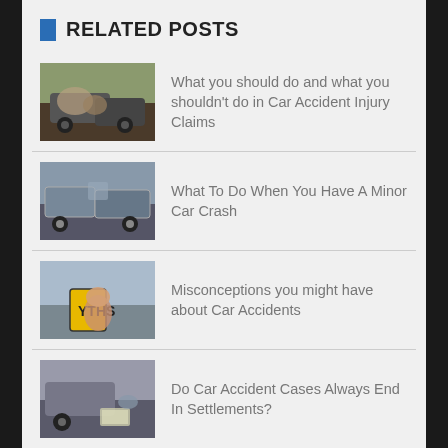RELATED POSTS
What you should do and what you shouldn't do in Car Accident Injury Claims
What To Do When You Have A Minor Car Crash
Misconceptions you might have about Car Accidents
Do Car Accident Cases Always End In Settlements?
What happens after a Car Accident?